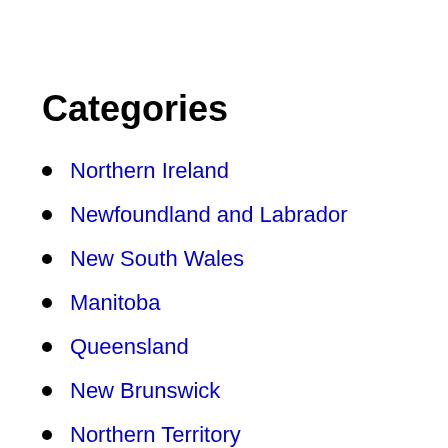Categories
Northern Ireland
Newfoundland and Labrador
New South Wales
Manitoba
Queensland
New Brunswick
Northern Territory
Scotland